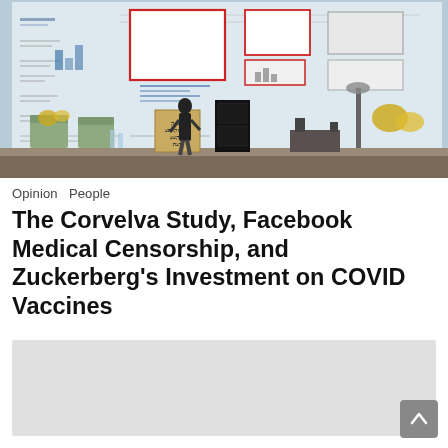[Figure (photo): A woman speaking at a podium on a stage. Behind her is a large presentation board with charts, diagrams, and red-outlined boxes. Chairs and floral decorations are visible on the stage.]
Opinion  People
The Corvelva Study, Facebook Medical Censorship, and Zuckerberg's Investment on COVID Vaccines
[Figure (other): Gray advertisement/placeholder block]